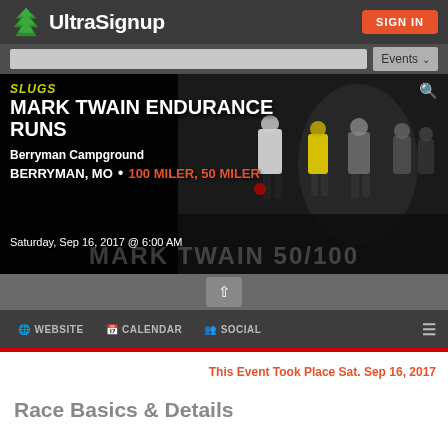UltraSignup — SIGN IN
[Figure (screenshot): UltraSignup website header with logo (green tree + UltraSignup text) and orange SIGN IN button on dark gray background, with search bar and Events dropdown below]
[Figure (photo): Night race start photo showing runners at the Mark Twain Endurance Runs with 'SLUGS' in yellow, 'MARK TWAIN ENDURANCE RUNS' in bold white, 'Berryman Campground' venue, 'BERRYMAN, MO • 100 MILER, 50 MILER' in white and orange, date 'Saturday, Sep 16, 2017 @ 6:00 AM', and watermark 'MARK TWAIN 50/100']
This Event Took Place Sat. Sep 16, 2017
Race Basics & Details